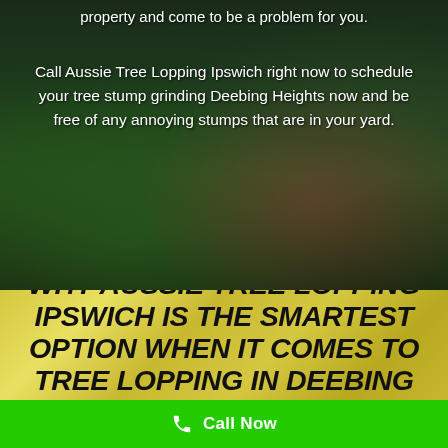property and come to be a problem for you.
Call Aussie Tree Lopping Ipswich right now to schedule your tree stump grinding Deebing Heights now and be free of any annoying stumps that are in your yard.
[Figure (photo): Dark garden background with green shrubs and a red/maroon plant, dark overlay]
WHY AUSSIE TREE LOPPING IPSWICH IS THE SMARTEST OPTION WHEN IT COMES TO TREE LOPPING IN DEEBING HEIGHTS, QUEENSLAND
Call Now